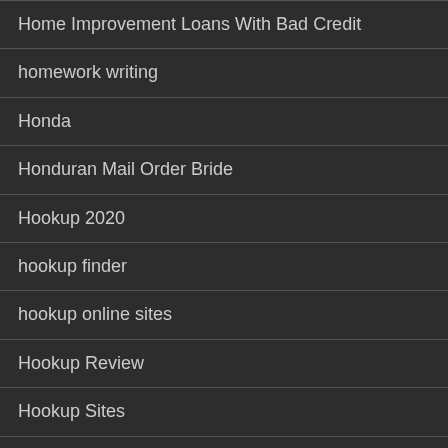Home Improvement Loans With Bad Credit
homework writing
Honda
Honduran Mail Order Bride
Hookup 2020
hookup finder
hookup online sites
Hookup Review
Hookup Sites
Hookup tips
hookup wanted login